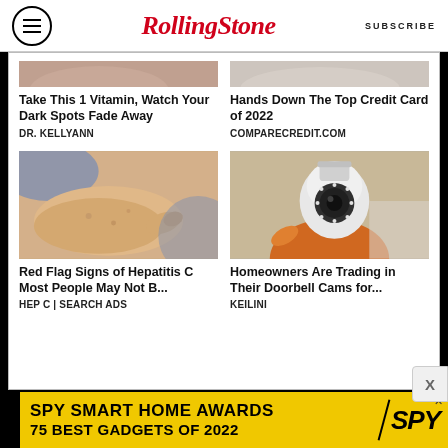RollingStone | SUBSCRIBE
[Figure (screenshot): Ad: Take This 1 Vitamin, Watch Your Dark Spots Fade Away - DR. KELLYANN]
[Figure (screenshot): Ad: Hands Down The Top Credit Card of 2022 - COMPARECREDIT.COM]
[Figure (photo): Ad image: arm with spots being pointed at - Red Flag Signs of Hepatitis C Most People May Not B... - HEP C | SEARCH ADS]
[Figure (photo): Ad image: hand holding lightbulb security camera - Homeowners Are Trading in Their Doorbell Cams for... - KEILINI]
[Figure (screenshot): Bottom banner ad: SPY SMART HOME AWARDS 75 BEST GADGETS OF 2022]